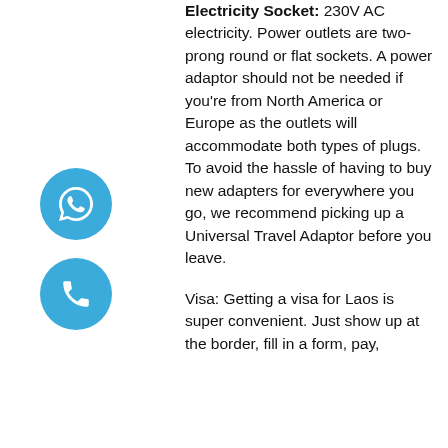Electricity Socket: 230V AC electricity. Power outlets are two-prong round or flat sockets. A power adaptor should not be needed if you're from North America or Europe as the outlets will accommodate both types of plugs. To avoid the hassle of having to buy new adapters for everywhere you go, we recommend picking up a Universal Travel Adaptor before you leave.
[Figure (illustration): Blue circular WhatsApp icon button]
[Figure (illustration): Blue circular phone icon button]
Visa: Getting a visa for Laos is super convenient. Just show up at the border, fill in a form, pay,